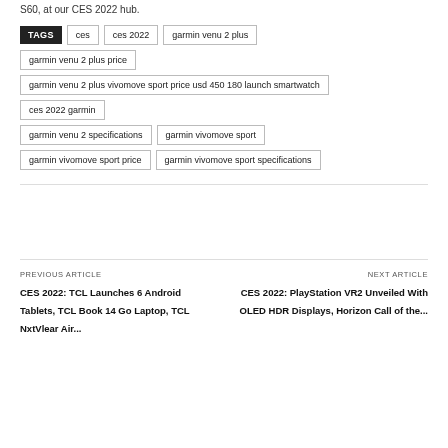S60, at our CES 2022 hub.
TAGS: ces, ces 2022, garmin venu 2 plus, garmin venu 2 plus price, garmin venu 2 plus vivomove sport price usd 450 180 launch smartwatch, ces 2022 garmin, garmin venu 2 specifications, garmin vivomove sport, garmin vivomove sport price, garmin vivomove sport specifications
PREVIOUS ARTICLE
CES 2022: TCL Launches 6 Android Tablets, TCL Book 14 Go Laptop, TCL NxtVlear Air...
NEXT ARTICLE
CES 2022: PlayStation VR2 Unveiled With OLED HDR Displays, Horizon Call of the...